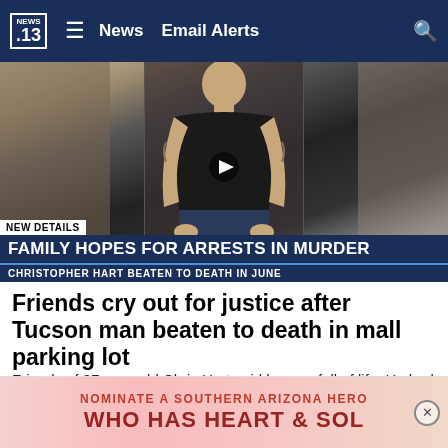NEWS .13  ≡  News  Email Alerts  🔍
[Figure (screenshot): Video thumbnail showing a tattooed man in a black tank top sitting down. Lower-third graphic reads: NEW DETAILS / FAMILY HOPES FOR ARRESTS IN MURDER / CHRISTOPHER HART BEATEN TO DEATH IN JUNE]
Friends cry out for justice after Tucson man beaten to death in mall parking lot
Friends of 37-year-old Chris Hart said he was full of life. He had a heart of gold, gave the best hugs and always put a …
KOLD News 13
[Figure (other): Advertisement banner with pink/red gradient background reading: NOMINATE A SOUTHERN ARIZONA HERO / WHO HAS HEART & SOL]